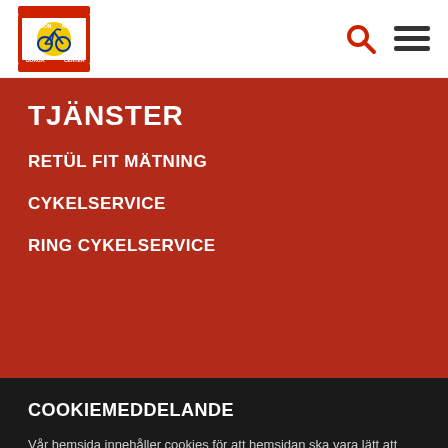[Figure (logo): Porvoon Pyörä Keskus / Borgå Cykel Center circular logo with red, yellow and blue bicycle graphic, red rectangular border]
Search and menu icons
TJÄNSTER
RETÜL FIT MÄTNING
CYKELSERVICE
RING CYKELSERVICE
COOKIEMEDDELANDE
Vår hemsida innehåller cookies för att hemsidan ska vara lätt att använda. Genom att använda hemsidan godkänner du också cockies.
Godkänn  Neka  Cookie inställning